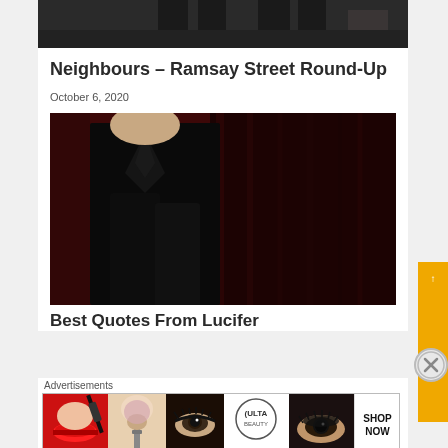[Figure (photo): Top partial image strip showing legs/lower body of people on stairs, dark background]
Neighbours – Ramsay Street Round-Up
October 6, 2020
[Figure (photo): A man in a black suit against a dark red background, adjusting his cufflinks, with a ring on his finger]
Best Quotes From Lucifer
Advertisements
[Figure (photo): Ulta Beauty advertisement banner showing makeup products and a Shop Now call to action]